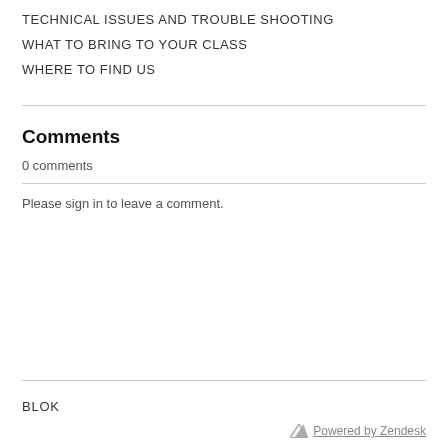TECHNICAL ISSUES AND TROUBLE SHOOTING
WHAT TO BRING TO YOUR CLASS
WHERE TO FIND US
Comments
0 comments
Please sign in to leave a comment.
BLOK
Powered by Zendesk